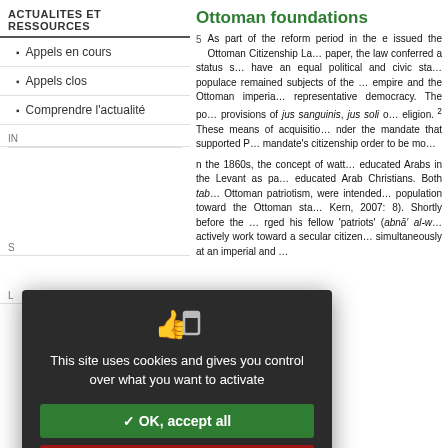ACTUALITES ET RESSOURCES
Appels en cours
Appels clos
Comprendre l'actualité
Ottoman foundations
5 As part of the reform period in the … issued the Ottoman Citizenship La… paper, the law conferred a status s… have an equal political and civic sta… populace remained subjects of the … empire and the Ottoman imperia… representative democracy. The po… provisions of jus sanguinis, jus soli o… eligion. 2 These means of acquisitio… nder the mandate that supported P… mandate's citizenship order to be mo…
n the 1860s, the concept of watt… educated Arabs in the Levant as pa… educated Arab Christians. Both tab… Ottoman patriotism, were intended… population toward the Ottoman sta… Kern, 2007: 8). Shortly before the … rged his fellow 'patriots' (abnā' al-w… actively work toward a secular citizen… simultaneously at an imperial and …
This site uses cookies and gives you control over what you want to activate
✓ OK, accept all
✗ Deny all cookies
Personalize
Privacy policy